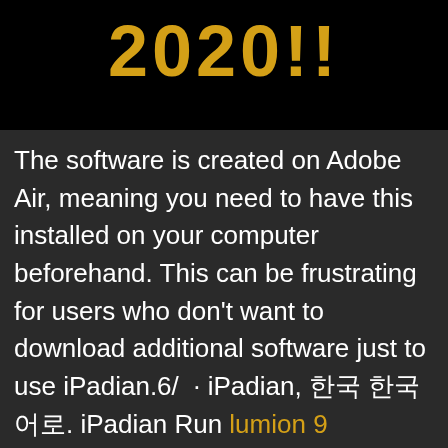[Figure (other): Black background image with large golden '2020!!' text at top]
The software is created on Adobe Air, meaning you need to have this installed on your computer beforehand. This can be frustrating for users who don't want to download additional software just to use iPadian.6/  · iPadian, 한국 한국어로. iPadian Run lumion 9 download with crack 64 bit -